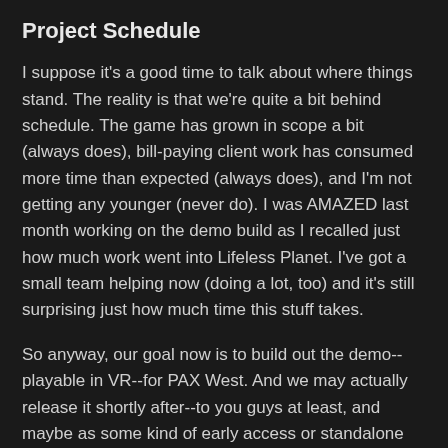Project Schedule
I suppose it's a good time to talk about where things stand. The reality is that we're quite a bit behind schedule. The game has grown in scope a bit (always does), bill-paying client work has consumed more time than expected (always does), and I'm not getting any younger (never do). I was AMAZED last month working on the demo build as I recalled just how much work went into Lifeless Planet. I've got a small team helping now (doing a lot, too) and it's still surprising just how much time this stuff takes.
So anyway, our goal now is to build out the demo--playable in VR--for PAX West. And we may actually release it shortly after--to you guys at least, and maybe as some kind of early access or standalone experience.
After that, we hope to wrap the first half of the game by the end of the year--maybe sooner, but realistically probably not. Whenever its done, we hope to release that portion of the game. Other games have done this too, to mixed success...